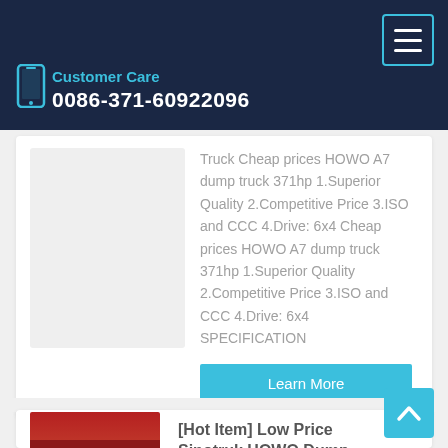Customer Care
0086-371-60922096
Truck Cheap prices HOWO A7 dump truck 371hp 1.Superior Quality 2.Competitive Price 3.ISO and CCC 4.Drive: 6x4 Cheap prices HOWO A7 dump truck 371hp 1.Superior Quality 2.Competitive Price 3.ISO and CCC 4.Drive: 6x4 SPECIFICATION
Learn More
[Hot Item] Low Price Sinotruk HOWO Dump